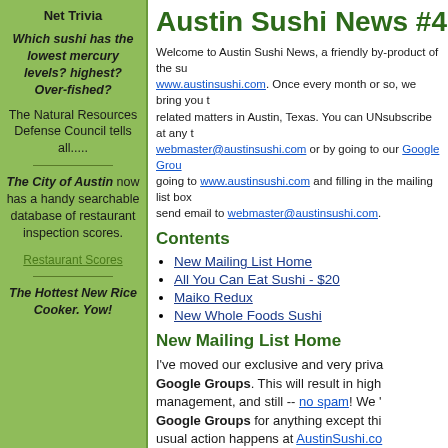Net Trivia
Which sushi has the lowest mercury levels? highest? Over-fished?
The Natural Resources Defense Council tells all.....
The City of Austin now has a handy searchable database of restaurant inspection scores.
Restaurant Scores
The Hottest New Rice Cooker. Yow!
Austin Sushi News #40,
Welcome to Austin Sushi News, a friendly by-product of the sushi website www.austinsushi.com. Once every month or so, we bring you the latest sushi related matters in Austin, Texas. You can UNsubscribe at any time by emailing webmaster@austinsushi.com or by going to our Google Group. To subscribe, going to www.austinsushi.com and filling in the mailing list box. Or you can send email to webmaster@austinsushi.com.
Contents
New Mailing List Home
All You Can Eat Sushi - $20
Maiko Redux
New Whole Foods Sushi
New Mailing List Home
I've moved our exclusive and very private mailing list to Google Groups. This will result in higher reliability, better management, and still -- no spam! We will only use Google Groups for anything except this newsletter. The usual action happens at AustinSushi.com. We welcome new subscribers (yes, I signe…